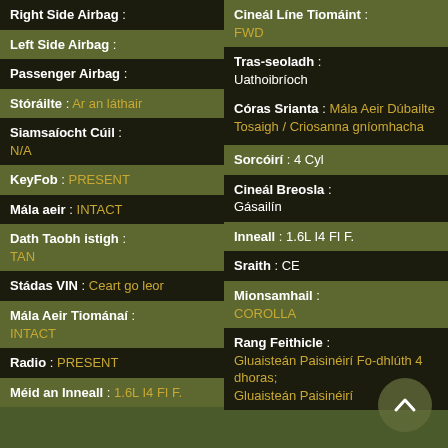Right Side Airbag :
Left Side Airbag :
Passenger Airbag :
Stóráilte : Ar an láthair
Siamsaíocht Cúil : N/A
KeyFob : PRESENT
Mála aeir : INTACT
Dath Taobh istigh : TAN
Stádas VIN : Ceart go leor
Mála Aeir Tiománaí : INTACT
Radio : PRESENT
Méid an Inneall : 1.6L I4 FI F.
Cineál Líne Tiomáint : FWD
Tras-seoladh : Uathoibríoch
Córas Srianta : Mála Aeir Dúbailte Tosaigh / Criosanna gníomhacha
Sorcóirí : 4 Cyl
Cineál Breosla : Gásailín
Inneall : 1.6L I4 FI F.
Sraith : CE
Mionsamhail : COROLLA
Rang Feithicle : Gluaisteán Paisinéirí Fo-dhlúth 4 dhoras; Gluaisteán Paisinéirí